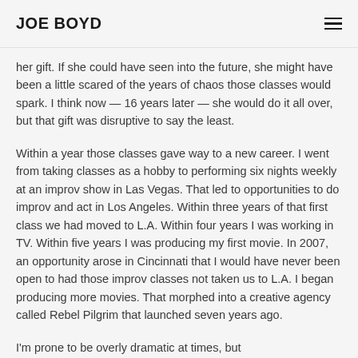JOE BOYD
her gift. If she could have seen into the future, she might have been a little scared of the years of chaos those classes would spark. I think now — 16 years later — she would do it all over, but that gift was disruptive to say the least.
Within a year those classes gave way to a new career. I went from taking classes as a hobby to performing six nights weekly at an improv show in Las Vegas. That led to opportunities to do improv and act in Los Angeles. Within three years of that first class we had moved to L.A. Within four years I was working in TV. Within five years I was producing my first movie. In 2007, an opportunity arose in Cincinnati that I would have never been open to had those improv classes not taken us to L.A. I began producing more movies. That morphed into a creative agency called Rebel Pilgrim that launched seven years ago.
I'm prone to be overly dramatic at times, but